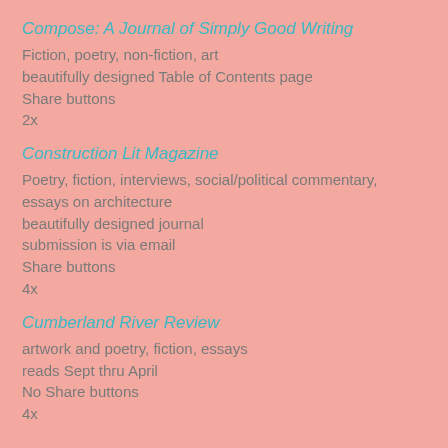Compose: A Journal of Simply Good Writing
Fiction, poetry, non-fiction, art
beautifully designed Table of Contents page
Share buttons
2x
Construction Lit Magazine
Poetry, fiction, interviews, social/political commentary, essays on architecture
beautifully designed journal
submission is via email
Share buttons
4x
Cumberland River Review
artwork and poetry, fiction, essays
reads Sept thru April
No Share buttons
4x